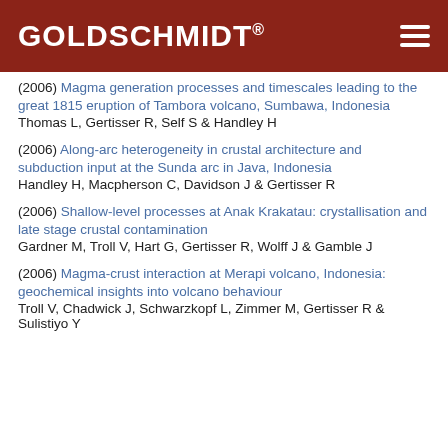GOLDSCHMIDT®
(2006) Magma generation processes and timescales leading to the great 1815 eruption of Tambora volcano, Sumbawa, Indonesia
Thomas L, Gertisser R, Self S & Handley H
(2006) Along-arc heterogeneity in crustal architecture and subduction input at the Sunda arc in Java, Indonesia
Handley H, Macpherson C, Davidson J & Gertisser R
(2006) Shallow-level processes at Anak Krakatau: crystallisation and late stage crustal contamination
Gardner M, Troll V, Hart G, Gertisser R, Wolff J & Gamble J
(2006) Magma-crust interaction at Merapi volcano, Indonesia: geochemical insights into volcano behaviour
Troll V, Chadwick J, Schwarzkopf L, Zimmer M, Gertisser R & Sulistiyo Y